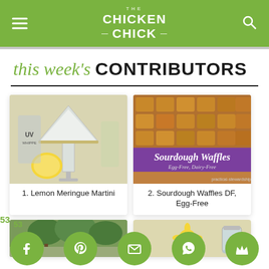THE CHICKEN CHICK
this week's CONTRIBUTORS
[Figure (photo): Photo of a lemon meringue martini cocktail with UV Whipped vodka and a lemon]
1. Lemon Meringue Martini
[Figure (photo): Photo of sourdough waffles with text overlay: Sourdough Waffles Egg-Free, Dairy-Free]
2. Sourdough Waffles DF, Egg-Free
[Figure (photo): Partially visible photo in the bottom left card]
[Figure (photo): Partially visible photo in the bottom right card]